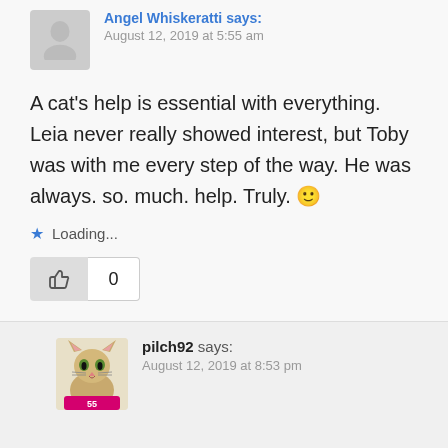Angel Whiskeratti says: August 12, 2019 at 5:55 am
A cat's help is essential with everything. Leia never really showed interest, but Toby was with me every step of the way. He was always. so. much. help. Truly. 🙂
Loading...
0
pilch92 says: August 12, 2019 at 8:53 pm